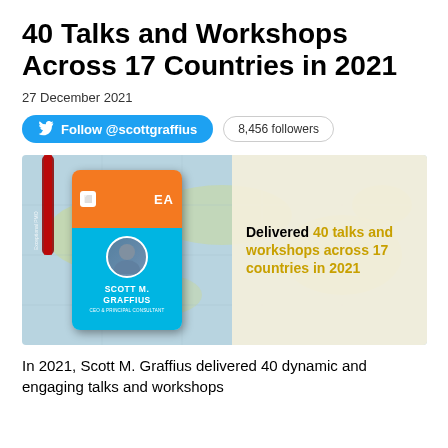40 Talks and Workshops Across 17 Countries in 2021
27 December 2021
[Figure (infographic): Twitter follow button for @scottgraffius with 8,456 followers count badge]
[Figure (infographic): Conference badge image for Scott M. Graffius, CEO & Principal Consultant, with text: Delivered 40 talks and workshops across 17 countries in 2021]
In 2021, Scott M. Graffius delivered 40 dynamic and engaging talks and workshops